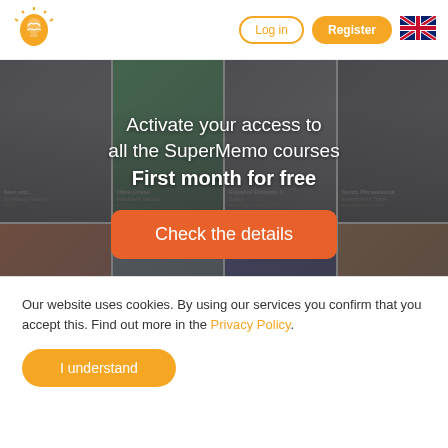[Figure (logo): SuperMemo brain/lightbulb logo in orange]
Log in
Register
[Figure (illustration): UK flag icon]
[Figure (screenshot): Background showing SuperMemo course cards grid with course thumbnails including Olive Green, Español Extremo 1 Basics, Dutch Phrasebook Essentials for Travel, Français Extrême 1, Chinese: Fast Track courses]
Activate your access to all the SuperMemo courses First month for free
Check the details
Our website uses cookies. By using our services you confirm that you accept this. Find out more in the Privacy Policy.
I understand